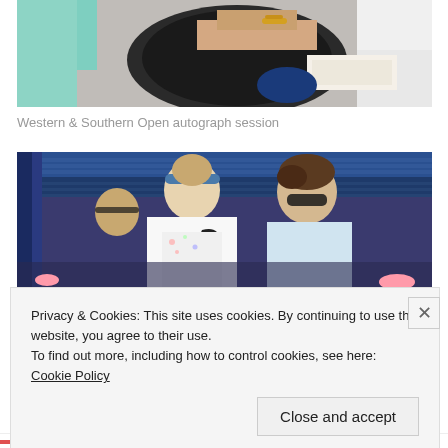[Figure (photo): Photo of a tennis player signing autographs at an event, viewed from above/behind]
Western & Southern Open autograph session
[Figure (photo): Photo of a female tennis player in white Nike outfit standing next to a man in a light blue shirt, with stadium seating in the background]
Privacy & Cookies: This site uses cookies. By continuing to use this website, you agree to their use.
To find out more, including how to control cookies, see here: Cookie Policy
Close and accept